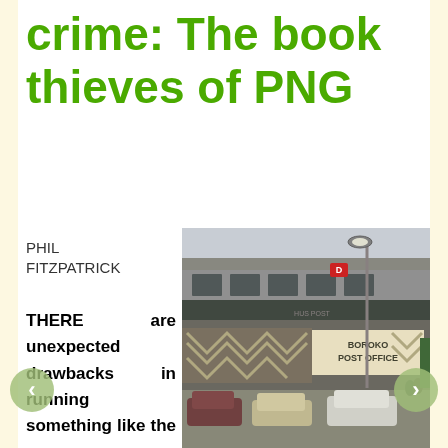crime: The book thieves of PNG
PHIL FITZPATRICK
THERE are unexpected drawbacks in running something like the Crocodile Prize national li...
[Figure (photo): Photograph of the Boroko Post Office building in PNG, a multi-story concrete brutalist structure with decorative facade panels reading BOROKO POST OFFICE, with cars parked in front and a street lamp visible]
[Figure (other): Left navigation arrow button (green circle with white left arrow)]
[Figure (other): Right navigation arrow button (green circle with white right arrow)]